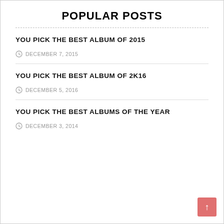POPULAR POSTS
YOU PICK THE BEST ALBUM OF 2015
DECEMBER 7, 2015
YOU PICK THE BEST ALBUM OF 2K16
DECEMBER 5, 2016
YOU PICK THE BEST ALBUMS OF THE YEAR
DECEMBER 3, 2014